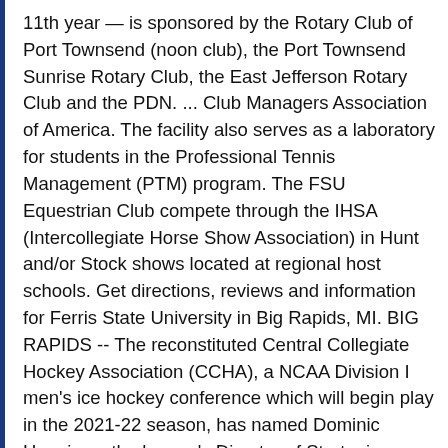11th year — is sponsored by the Rotary Club of Port Townsend (noon club), the Port Townsend Sunrise Rotary Club, the East Jefferson Rotary Club and the PDN. ... Club Managers Association of America. The facility also serves as a laboratory for students in the Professional Tennis Management (PTM) program. The FSU Equestrian Club compete through the IHSA (Intercollegiate Horse Show Association) in Hunt and/or Stock shows located at regional host schools. Get directions, reviews and information for Ferris State University in Big Rapids, MI. BIG RAPIDS -- The reconstituted Central Collegiate Hockey Association (CCHA), a NCAA Division I men's ice hockey conference which will begin play in the 2021-22 season, has named Dominic Hennig as the league's Director of Strategic Communications and Brand Advancement. A married couple from South Carolina have been arrested for allegedly having sex on a Ferris wheel in